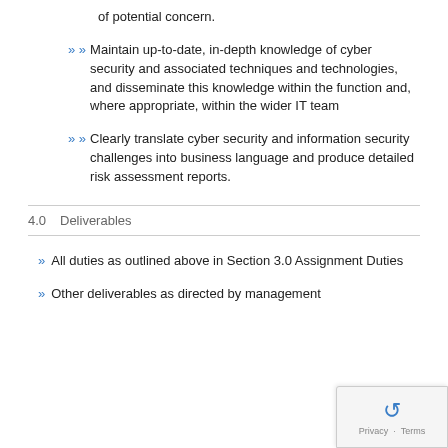of potential concern.
Maintain up-to-date, in-depth knowledge of cyber security and associated techniques and technologies, and disseminate this knowledge within the function and, where appropriate, within the wider IT team
Clearly translate cyber security and information security challenges into business language and produce detailed risk assessment reports.
4.0   Deliverables
All duties as outlined above in Section 3.0 Assignment Duties
Other deliverables as directed by management